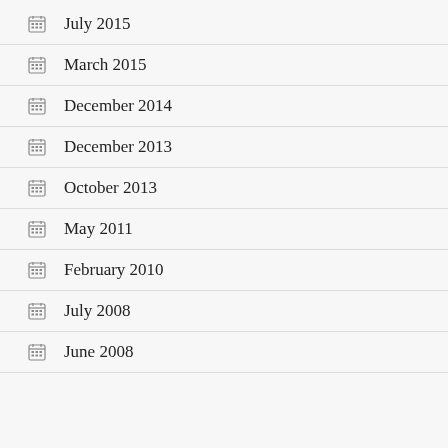July 2015
March 2015
December 2014
December 2013
October 2013
May 2011
February 2010
July 2008
June 2008